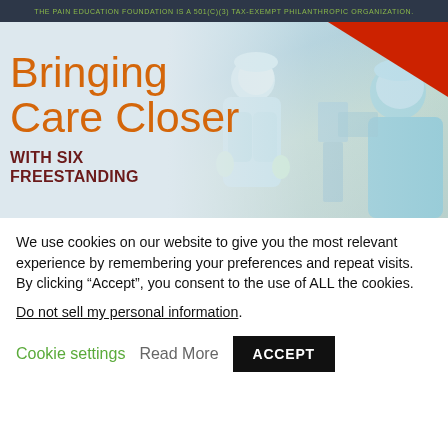THE PAIN EDUCATION FOUNDATION IS A 501(C)(3) TAX-EXEMPT PHILANTHROPIC ORGANIZATION.
[Figure (photo): Healthcare workers in cleanroom/lab suits working in a pharmaceutical or medical facility, with orange 'Bringing Care Closer' heading and 'WITH SIX FREESTANDING' subheading overlaid on the image.]
We use cookies on our website to give you the most relevant experience by remembering your preferences and repeat visits. By clicking “Accept”, you consent to the use of ALL the cookies.
Do not sell my personal information.
Cookie settings   Read More   ACCEPT